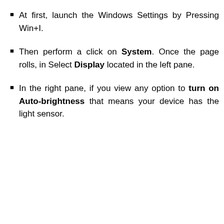At first, launch the Windows Settings by Pressing Win+I.
Then perform a click on System. Once the page rolls, in Select Display located in the left pane.
In the right pane, if you view any option to turn on Auto-brightness that means your device has the light sensor.